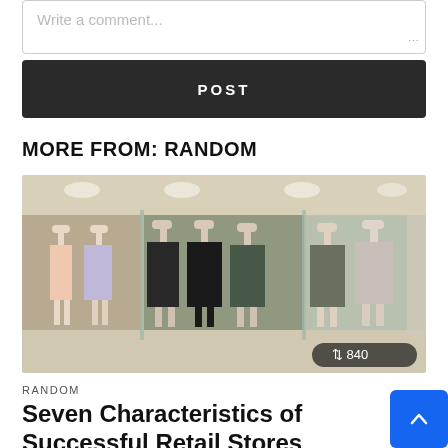Write a comment...
POST
MORE FROM: RANDOM
[Figure (photo): Interior of a retail clothing store with mannequins dressed in various outfits, display racks with clothing, and a glass storefront. Read count badge showing 840.]
RANDOM
Seven Characteristics of Successful Retail Stores